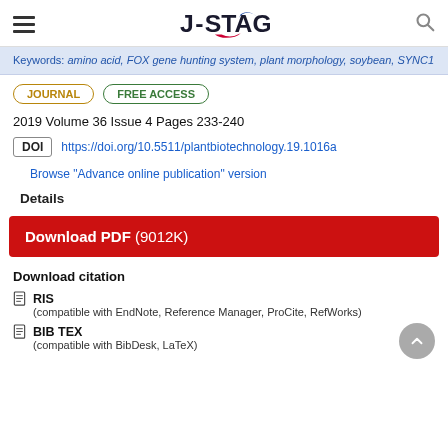J-STAGE
Keywords: amino acid, FOX gene hunting system, plant morphology, soybean, SYNC1
JOURNAL   FREE ACCESS
2019 Volume 36 Issue 4 Pages 233-240
DOI https://doi.org/10.5511/plantbiotechnology.19.1016a
Browse “Advance online publication” version
Details
Download PDF (9012K)
Download citation
RIS
(compatible with EndNote, Reference Manager, ProCite, RefWorks)
BIB TEX
(compatible with BibDesk, LaTeX)